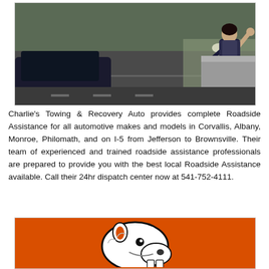[Figure (photo): A woman standing beside a car on the side of a highway, appearing distressed, with traffic in the background. Roadside assistance scenario.]
Charlie's Towing & Recovery Auto provides complete Roadside Assistance for all automotive makes and models in Corvallis, Albany, Monroe, Philomath, and on I-5 from Jefferson to Brownsville. Their team of experienced and trained roadside assistance professionals are prepared to provide you with the best local Roadside Assistance available. Call their 24hr dispatch center now at 541-752-4111.
[Figure (logo): Oregon State Beavers logo — a beaver mascot in white and black on an orange background.]